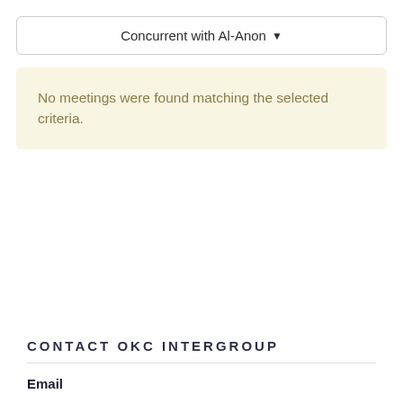Concurrent with Al-Anon ▼
No meetings were found matching the selected criteria.
CONTACT OKC INTERGROUP
Email